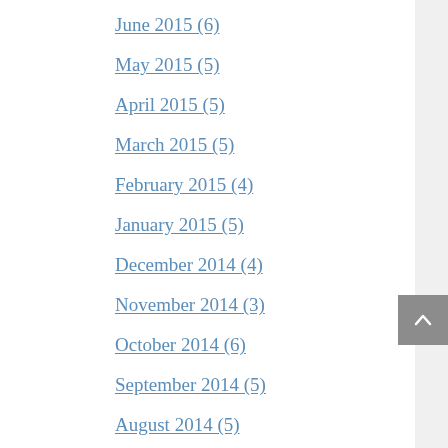June 2015 (6)
May 2015 (5)
April 2015 (5)
March 2015 (5)
February 2015 (4)
January 2015 (5)
December 2014 (4)
November 2014 (3)
October 2014 (6)
September 2014 (5)
August 2014 (5)
July 2014 (4)
June 2014 (6)